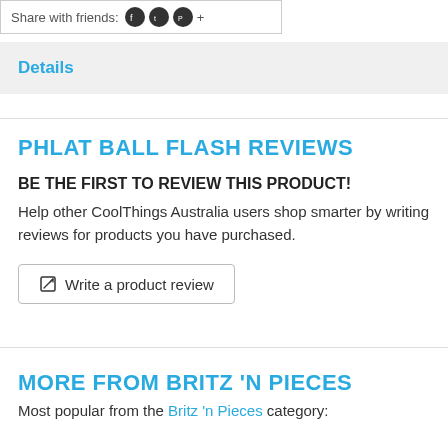Share with friends:
Details
PHLAT BALL FLASH REVIEWS
BE THE FIRST TO REVIEW THIS PRODUCT!
Help other CoolThings Australia users shop smarter by writing reviews for products you have purchased.
Write a product review
MORE FROM BRITZ 'N PIECES
Most popular from the Britz 'n Pieces category: